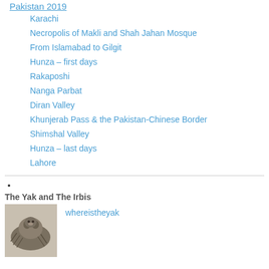Pakistan 2019
Karachi
Necropolis of Makli and Shah Jahan Mosque
From Islamabad to Gilgit
Hunza – first days
Rakaposhi
Nanga Parbat
Diran Valley
Khunjerab Pass & the Pakistan-Chinese Border
Shimshal Valley
Hunza – last days
Lahore
The Yak and The Irbis
[Figure (photo): Black and white photo of a furry animal, possibly a yak]
whereistheyak